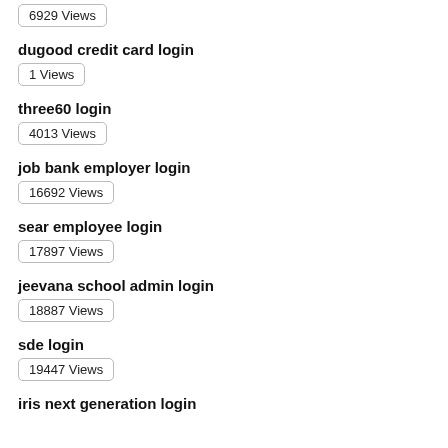6929 Views
dugood credit card login
1 Views
three60 login
4013 Views
job bank employer login
16692 Views
sear employee login
17897 Views
jeevana school admin login
18887 Views
sde login
19447 Views
iris next generation login